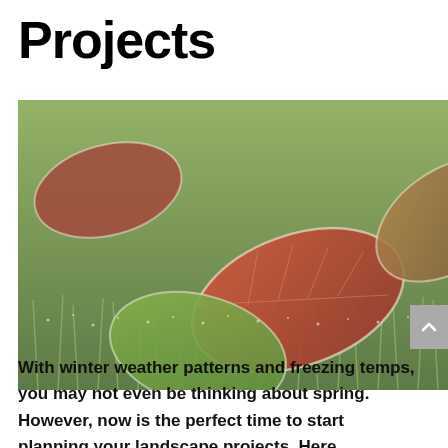Projects
[Figure (photo): Close-up photograph of frost-covered autumn leaves (red, orange, green, and brown) lying on frosted grass blades, with white frost visible on leaf edges and grass tips.]
With winter weather patterns and freezing temps, you may not even be thinking about spring. However, now is the perfect time to start planning your landscape projects. Here